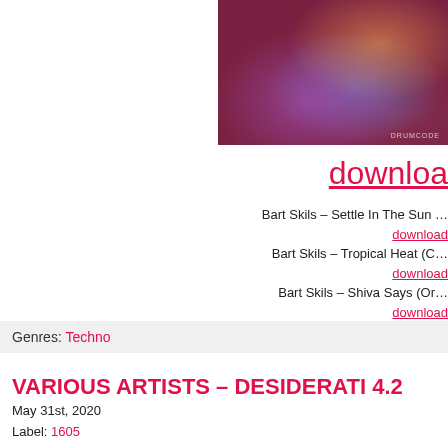[Figure (photo): Album cover art with abstract reddish-purple swirling colors and bokeh effects, with DRUMCODE text in bottom right corner]
download
Bart Skils – Settle In The Sun
download
Bart Skils – Tropical Heat (C…
download
Bart Skils – Shiva Says (Or…
download
Genres: Techno
VARIOUS ARTISTS – DESIDERATI 4.2
May 31st, 2020
Label: 1605